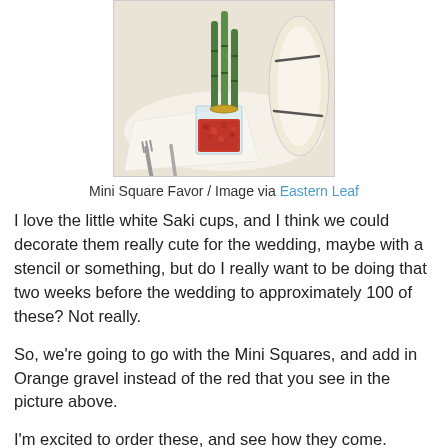[Figure (photo): Photo of a Mini Square bamboo favor in a small glass vase with red/orange gravel, placed on a white folded napkin with silverware, with a scroll in the background.]
Mini Square Favor / Image via Eastern Leaf
I love the little white Saki cups, and I think we could decorate them really cute for the wedding, maybe with a stencil or something, but do I really want to be doing that two weeks before the wedding to approximately 100 of these? Not really.
So, we're going to go with the Mini Squares, and add in Orange gravel instead of the red that you see in the picture above.
I'm excited to order these, and see how they come. Apparently you have to assemble them when they arrive, so that should be a nice little project. Good thing my mom and